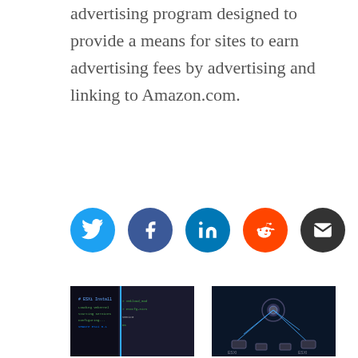advertising program designed to provide a means for sites to earn advertising fees by advertising and linking to Amazon.com.
[Figure (infographic): Row of five social media share buttons: Twitter (blue), Facebook (dark blue), LinkedIn (teal/dark blue), Reddit (orange), Email (dark grey)]
[Figure (photo): Thumbnail image of a terminal/command line screen, dark background with text]
Nested ESXi 5.1 – Virtual ESXi In A Physical ESXi Host
[Figure (photo): Thumbnail image of a network diagram on dark background]
VMware ESXi Home Lab [2016]
03/19/2016
In "General"